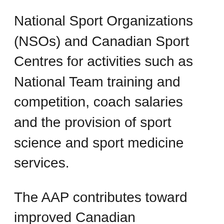National Sport Organizations (NSOs) and Canadian Sport Centres for activities such as National Team training and competition, coach salaries and the provision of sport science and sport medicine services.
The AAP contributes toward improved Canadian performances at major international sporting events such as the Olympic/Paralympic Games and World Championships.
The AAP recognizes the commitment that athletes make to the National Team training and competitive programs provided by their